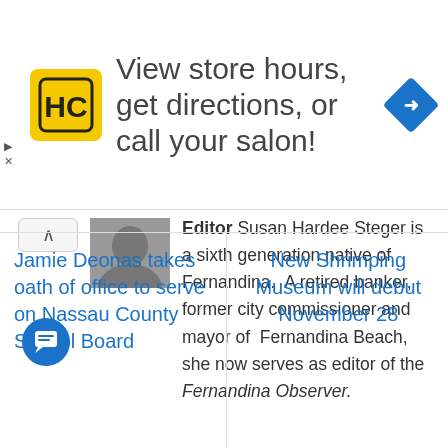[Figure (logo): Salon/hair care store advertisement banner with HC logo and navigation arrow icon. Text: View store hours, get directions, or call your salon!]
Editor Susan Hardee Steger is a sixth generation native of Fernandina.  A retired banker, former city commissioner and mayor of  Fernandina Beach, she now serves as editor of the Fernandina Observer.
Jamie Deonas takes oath of office to serve on Nassau County School Board
New Shrimping Museum will debut November 28